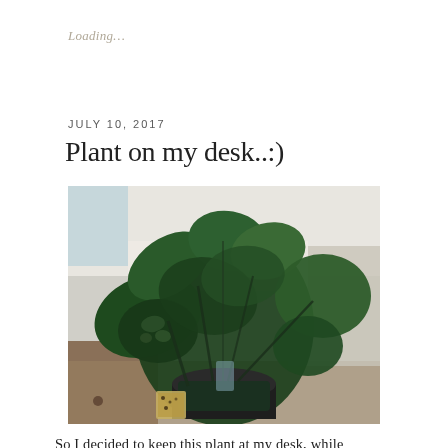Loading...
JULY 10, 2017
Plant on my desk..:)
[Figure (photo): A green leafy houseplant with dark green leaves, some with lighter speckled patterns, in a decorated pot, sitting on a desk surface with a blurred office background.]
So I decided to keep this plant at my desk, while